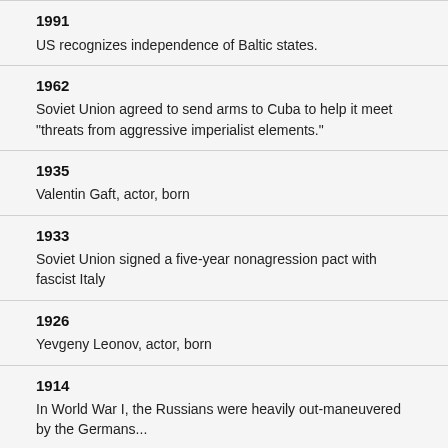1991
US recognizes independence of Baltic states.
1962
Soviet Union agreed to send arms to Cuba to help it meet "threats from aggressive imperialist elements."
1935
Valentin Gaft, actor, born
1933
Soviet Union signed a five-year nonagression pact with fascist Italy
1926
Yevgeny Leonov, actor, born
1914
In World War I, the Russians were heavily out-maneuvered by the Germans...